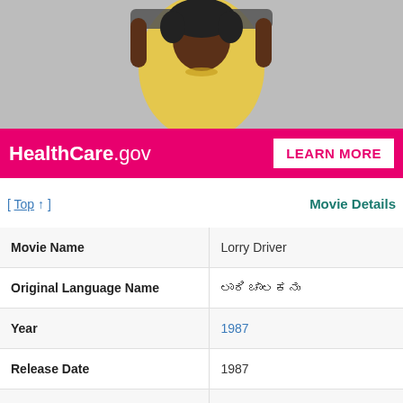[Figure (photo): Advertisement banner for HealthCare.gov showing a young woman in a yellow shirt holding a skateboard above her head, with a pink banner at the bottom displaying 'HealthCare.gov' in white text and a 'LEARN MORE' button.]
[ Top ↑ ]
Movie Details
| Field | Value |
| --- | --- |
| Movie Name | Lorry Driver |
| Original Language Name | ಲಾರಿ ಚಾಲಕನು |
| Year | 1987 |
| Release Date | 1987 |
| Languages | Kannada |